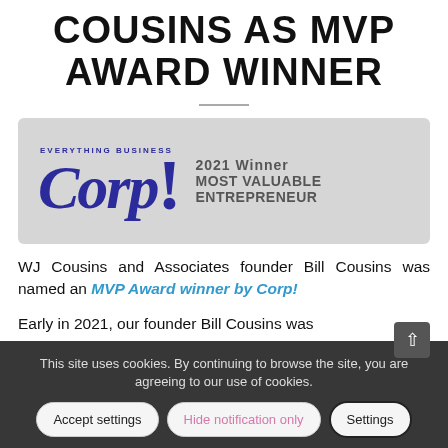COUSINS AS MVP AWARD WINNER
[Figure (logo): Corp! Magazine logo with text: EVERYTHING BUSINESS Corp! 2021 Winner Most Valuable Entrepreneur]
WJ Cousins and Associates founder Bill Cousins was named an MVP Award winner by Corp!
Early in 2021, our founder Bill Cousins was
This site uses cookies. By continuing to browse the site, you are agreeing to our use of cookies.